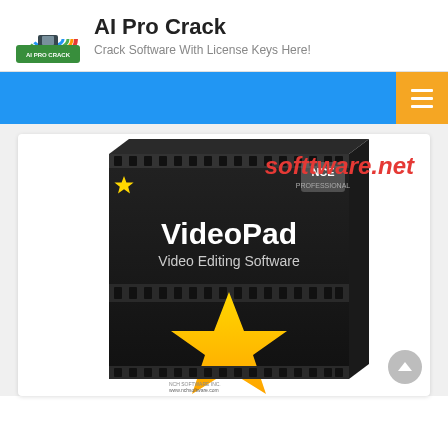AI Pro Crack — Crack Software With License Keys Here!
[Figure (screenshot): Website header with AI Pro Crack logo (colorful icon), site name 'AI Pro Crack' in bold, tagline 'Crack Software With License Keys Here!', blue navigation bar with orange hamburger menu button, and a product box image for VideoPad Video Editing Software showing a dark film-reel themed box with a gold star, overlaid with red italic watermark text 'softtware.net']